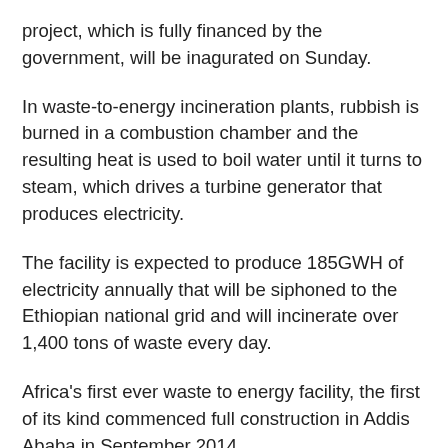project, which is fully financed by the government, will be inagurated on Sunday.
In waste-to-energy incineration plants, rubbish is burned in a combustion chamber and the resulting heat is used to boil water until it turns to steam, which drives a turbine generator that produces electricity.
The facility is expected to produce 185GWH of electricity annually that will be siphoned to the Ethiopian national grid and will incinerate over 1,400 tons of waste every day.
Africa's first ever waste to energy facility, the first of its kind commenced full construction in Addis Ababa in September 2014.
The project  is jointly constructed by Cambridge Industries